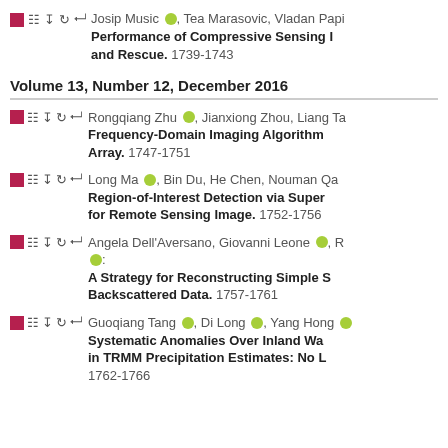Josip Music, Tea Marasovic, Vladan Papi... Performance of Compressive Sensing I... and Rescue. 1739-1743
Volume 13, Number 12, December 2016
Rongqiang Zhu, Jianxiong Zhou, Liang Ta... Frequency-Domain Imaging Algorithm... Array. 1747-1751
Long Ma, Bin Du, He Chen, Nouman Qa... Region-of-Interest Detection via Super... for Remote Sensing Image. 1752-1756
Angela Dell'Aversano, Giovanni Leone, ... A Strategy for Reconstructing Simple S... Backscattered Data. 1757-1761
Guoqiang Tang, Di Long, Yang Hong... Systematic Anomalies Over Inland Wa... in TRMM Precipitation Estimates: No L... 1762-1766